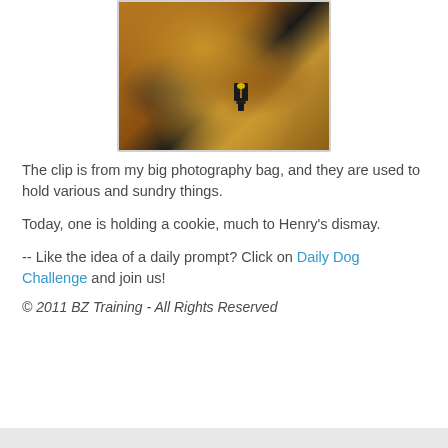[Figure (photo): Close-up photo of a golden/yellow dog with a black spring clamp clip holding a yellow cookie/treat near its nose, warm brown tones, dark background elements]
The clip is from my big photography bag, and they are used to hold various and sundry things.
Today, one is holding a cookie, much to Henry's dismay.
-- Like the idea of a daily prompt? Click on Daily Dog Challenge and join us!
© 2011 BZ Training - All Rights Reserved